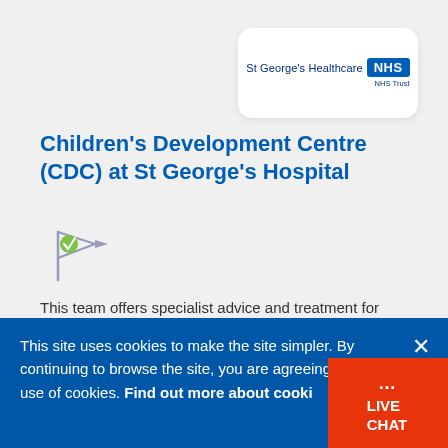[Figure (logo): St George's Healthcare NHS Trust logo — text 'St George's Healthcare' followed by blue NHS badge, with 'NHS Trust' below]
Children's Development Centre (CDC) at St George's Hospital
[Figure (illustration): Flag icon with green check circle]
This team offers specialist advice and treatment for children and young people from 0 to 16 years of age with potential or actual developmental problems. This means their physical or skill development is not the same as others in their age group. Young...
This site uses cookies to make the site simpler. By continuing to browse the site, you are agreeing to our use of cookies. Find out more about cookies